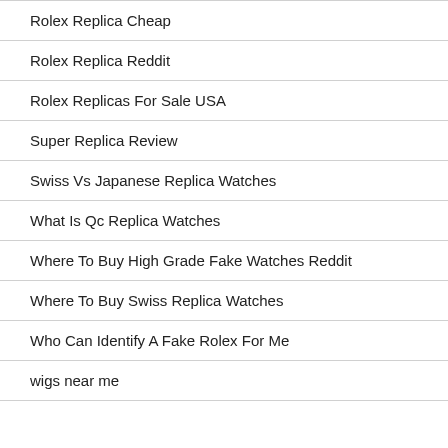Rolex Replica Cheap
Rolex Replica Reddit
Rolex Replicas For Sale USA
Super Replica Review
Swiss Vs Japanese Replica Watches
What Is Qc Replica Watches
Where To Buy High Grade Fake Watches Reddit
Where To Buy Swiss Replica Watches
Who Can Identify A Fake Rolex For Me
wigs near me